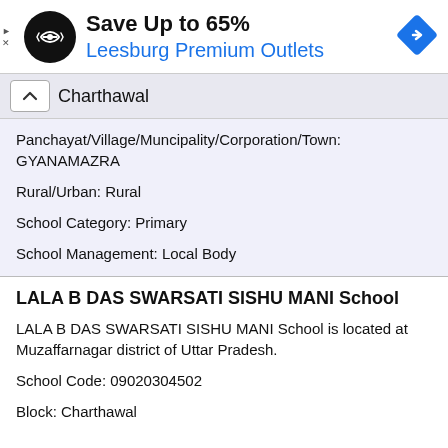[Figure (other): Advertisement banner for Leesburg Premium Outlets showing Save Up to 65% with logo and navigation diamond icon]
Charthawal
Panchayat/Village/Muncipality/Corporation/Town: GYANAMAZRA
Rural/Urban: Rural
School Category: Primary
School Management: Local Body
LALA B DAS SWARSATI SISHU MANI School
LALA B DAS SWARSATI SISHU MANI School is located at Muzaffarnagar district of Uttar Pradesh.
School Code: 09020304502
Block: Charthawal